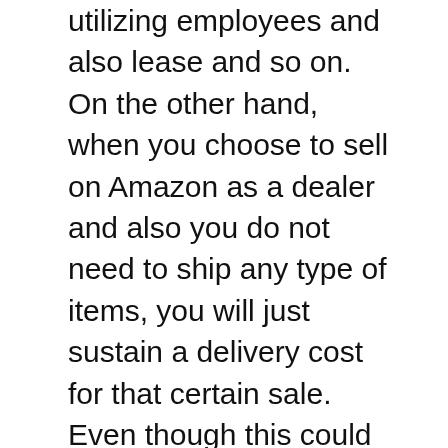utilizing employees and also lease and so on. On the other hand, when you choose to sell on Amazon as a dealer and also you do not need to ship any type of items, you will just sustain a delivery cost for that certain sale. Even though this could not seem like much, Amazon does not charge a ton of money for their solitary systems.
This leads us to an additional drawback of dropshipping. When you dropship, you will never have an actual product in your property. This implies you will certainly be responsible for taking care of the inventory. The dropshipper will certainly look after it. You are accountable for providing the item, packaging and also storing it. It will certainly depend on you just how you load as well as